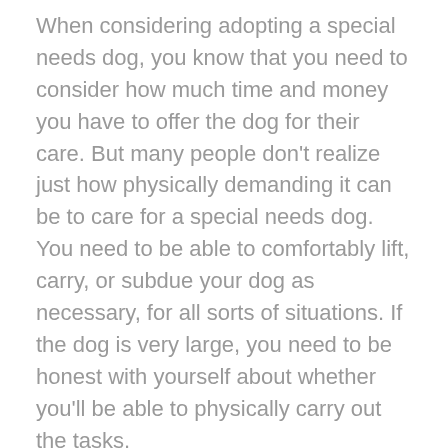When considering adopting a special needs dog, you know that you need to consider how much time and money you have to offer the dog for their care. But many people don't realize just how physically demanding it can be to care for a special needs dog. You need to be able to comfortably lift, carry, or subdue your dog as necessary, for all sorts of situations. If the dog is very large, you need to be honest with yourself about whether you'll be able to physically carry out the tasks.
There are tools that can help, such as the lifting harness linked above. This makes it easier to get a dog in and out of the car for going to the vet's office, for example. But it can't be relied on in every single situation. There will be times when you'll need to be